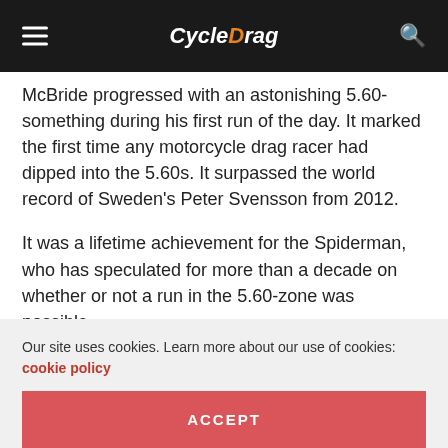CycleDrag
McBride progressed with an astonishing 5.60-something during his first run of the day. It marked the first time any motorcycle drag racer had dipped into the 5.60s. It surpassed the world record of Sweden's Peter Svensson from 2012.
It was a lifetime achievement for the Spiderman, who has speculated for more than a decade on whether or not a run in the 5.60-zone was possible.
“I knew it was a really quick run. I just didn’t know it was that quick. I think I was in shock when I got the news,” McBride said. “Many of the sportsman racers
Our site uses cookies. Learn more about our use of cookies: cookie policy
ACCEPT